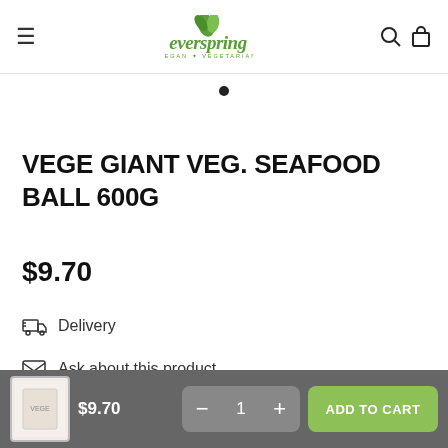everspring VEGAN VEGETARIAN
[Figure (screenshot): Everspring vegan vegetarian logo with green leaf icon]
VEGE GIANT VEG. SEAFOOD BALL 600G
$9.70
Delivery
Ask about this product
$9.70  − 1 +  ADD TO CART